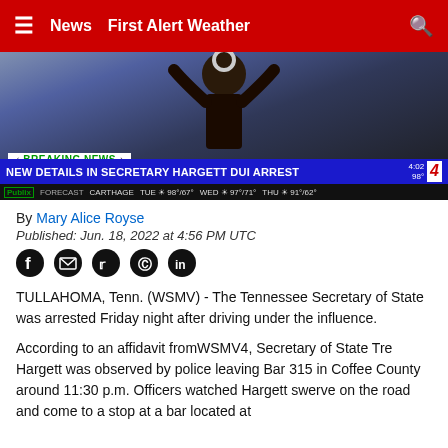News  First Alert Weather
[Figure (screenshot): TV news broadcast screenshot showing a Breaking News chyron reading 'NEW DETAILS IN SECRETARY HARGETT DUI ARREST' on NBC4, with weather ticker showing Carthage forecast. A silhouette of a person is shown in the background.]
By Mary Alice Royse
Published: Jun. 18, 2022 at 4:56 PM UTC
TULLAHOMA, Tenn. (WSMV) - The Tennessee Secretary of State was arrested Friday night after driving under the influence.
According to an affidavit fromWSMV4, Secretary of State Tre Hargett was observed by police leaving Bar 315 in Coffee County around 11:30 p.m. Officers watched Hargett swerve on the road and come to a stop at a bar located at